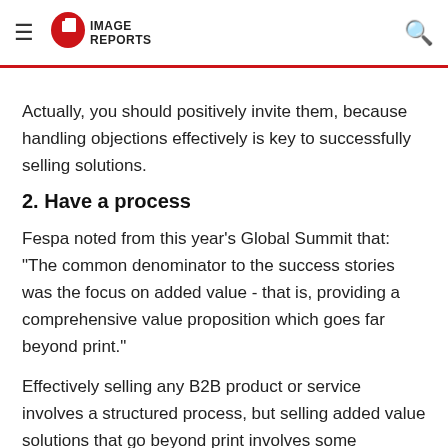IMAGE REPORTS
Actually, you should positively invite them, because handling objections effectively is key to successfully selling solutions.
2. Have a process
Fespa noted from this year's Global Summit that: "The common denominator to the success stories was the focus on added value - that is, providing a comprehensive value proposition which goes far beyond print."
Effectively selling any B2B product or service involves a structured process, but selling added value solutions that go beyond print involves some essential extra stages. For example, gaining a clear understanding of the customer's business needs, objectives and strategy is a vital first